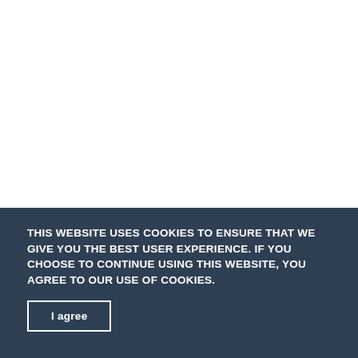THIS WEBSITE USES COOKIES TO ENSURE THAT WE GIVE YOU THE BEST USER EXPERIENCE. IF YOU CHOOSE TO CONTINUE USING THIS WEBSITE, YOU AGREE TO OUR USE OF COOKIES.
I agree